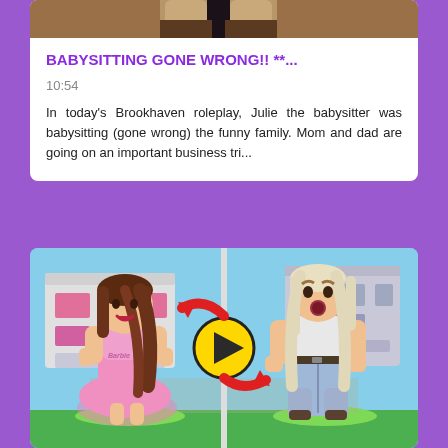[Figure (screenshot): Top portion of a Roblox Brookhaven video thumbnail showing legs of a character from above, cropped at top of card]
BABYSITTING GONE WRONG!! **...
10:54
In today's Brookhaven roleplay, Julie the babysitter was babysitting (gone wrong) the funny family. Mom and dad are going on an important business tri...
[Figure (screenshot): Roblox Brookhaven screenshot split in two: left side shows a girl character in a pink Barbie dress with long brown hair; right side shows an old woman character with long blonde hair in casual clothes. A yellow play button with red spinning arrows is overlaid in the center.]